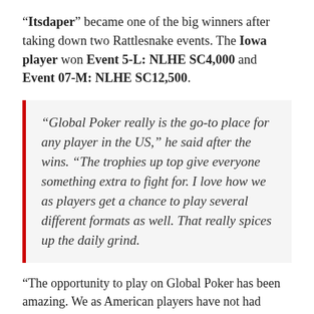"Itsdaper" became one of the big winners after taking down two Rattlesnake events. The Iowa player won Event 5-L: NLHE SC4,000 and Event 07-M: NLHE SC12,500.
“Global Poker really is the go-to place for any player in the US,” he said after the wins. “The trophies up top give everyone something extra to fight for. I love how we as players get a chance to play several different formats as well. That really spices up the daily grind.
“The opportunity to play on Global Poker has been amazing. We as American players have not had